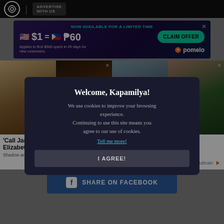ABS-CBN | ADVERTISE WITH US
[Figure (advertisement): Pomelo ad banner: NOW AVAILABLE FOR A LIMITED TIME. $1 = ₱60. CLAIM OFFER. Applies to first $500 spent in 45 days for new customers. pomelo logo.]
[Figure (photo): Four movie/show thumbnail images side by side with X close buttons]
'Call Jane' Abortion D... Elizabeth...
Shadow and A...
m, Stars y And ga Tee Up
outbrain
[Figure (infographic): Cookie consent modal: Welcome, Kapamilya! We use cookies to improve your browsing experience. Continuing to use this site means you agree to our use of cookies. Tell me more! I AGREE!]
SHARE ON FACEBOOK